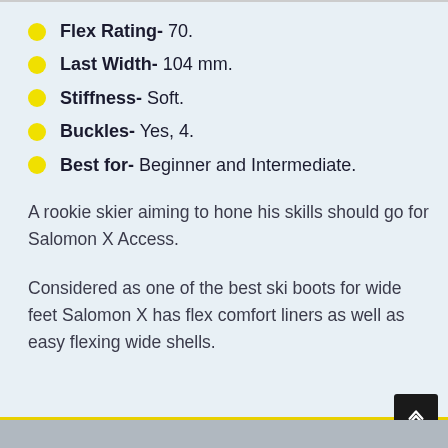Flex Rating- 70.
Last Width- 104 mm.
Stiffness- Soft.
Buckles- Yes, 4.
Best for- Beginner and Intermediate.
A rookie skier aiming to hone his skills should go for Salomon X Access.
Considered as one of the best ski boots for wide feet Salomon X has flex comfort liners as well as easy flexing wide shells.